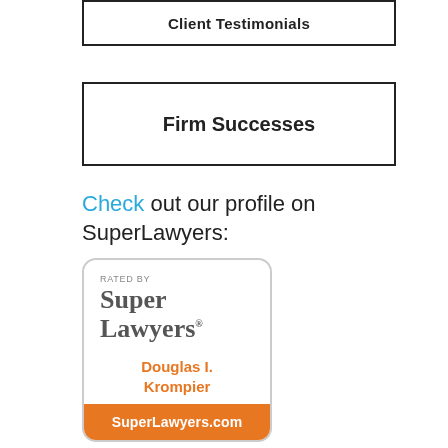Client Testimonials
Firm Successes
Check out our profile on SuperLawyers:
[Figure (logo): Super Lawyers badge rated by Super Lawyers - Douglas I. Krompier - SuperLawyers.com]